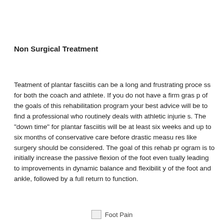Non Surgical Treatment
Teatment of plantar fasciitis can be a long and frustrating process for both the coach and athlete. If you do not have a firm grasp of the goals of this rehabilitation program your best advice will be to find a professional who routinely deals with athletic injuries. The "down time" for plantar fasciitis will be at least six weeks and up to six months of conservative care before drastic measures like surgery should be considered. The goal of this rehab program is to initially increase the passive flexion of the foot eventually leading to improvements in dynamic balance and flexibility of the foot and ankle, followed by a full return to function.
[Figure (photo): Foot Pain image placeholder]